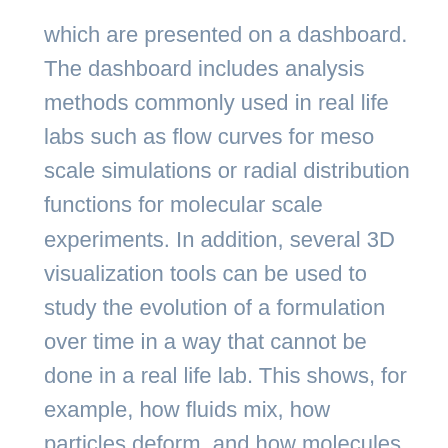which are presented on a dashboard. The dashboard includes analysis methods commonly used in real life labs such as flow curves for meso scale simulations or radial distribution functions for molecular scale experiments. In addition, several 3D visualization tools can be used to study the evolution of a formulation over time in a way that cannot be done in a real life lab. This shows, for example, how fluids mix, how particles deform, and how molecules cluster during a simulation. All plots and visualizations can be easily exported for presentations and reports.